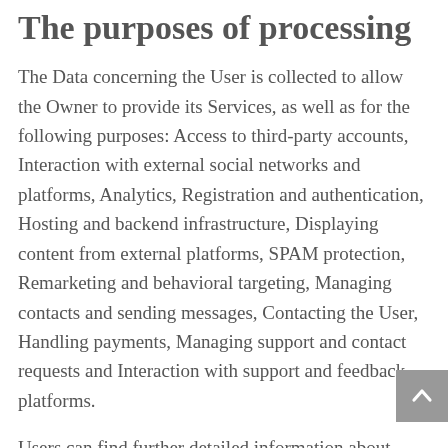The purposes of processing
The Data concerning the User is collected to allow the Owner to provide its Services, as well as for the following purposes: Access to third-party accounts, Interaction with external social networks and platforms, Analytics, Registration and authentication, Hosting and backend infrastructure, Displaying content from external platforms, SPAM protection, Remarketing and behavioral targeting, Managing contacts and sending messages, Contacting the User, Handling payments, Managing support and contact requests and Interaction with support and feedback platforms.
Users can find further detailed information about such purposes of processing and about the